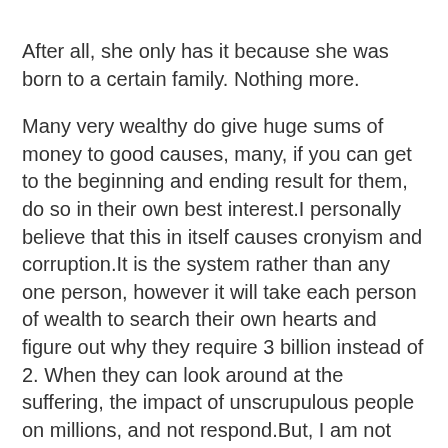After all, she only has it because she was born to a certain family. Nothing more.
Many very wealthy do give huge sums of money to good causes, many, if you can get to the beginning and ending result for them, do so in their own best interest.I personally believe that this in itself causes cronyism and corruption.It is the system rather than any one person, however it will take each person of wealth to search their own hearts and figure out why they require 3 billion instead of 2. When they can look around at the suffering, the impact of unscrupulous people on millions, and not respond.But, I am not wealthy and I do not have any right to judge them, I just don't understand.
I have always been fascinated by the fact that Brits so love their Queen, when, I assume, they have to scratch out a living like the rest of us. They seem to be blind to the fact that she lives in luxury with really, no worries, not because she made her money from